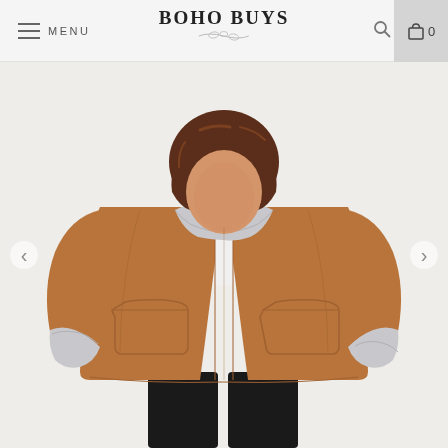MENU | BOHO BUYS | Search | Cart 0
[Figure (photo): Woman wearing a tan/camel colored open-front coat with grey fleece lining on collar and cuffs, two front patch pockets, paired with a white t-shirt and black pants. Product photo on white background.]